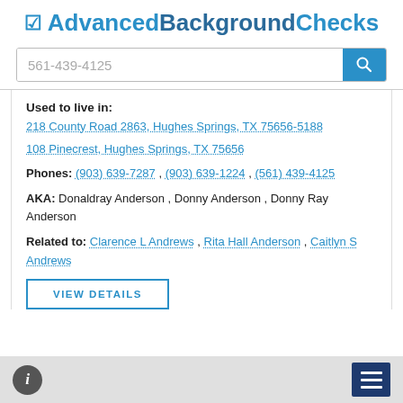AdvancedBackgroundChecks
561-439-4125
Used to live in:
218 County Road 2863, Hughes Springs, TX 75656-5188
108 Pinecrest, Hughes Springs, TX 75656
Phones: (903) 639-7287 , (903) 639-1224 , (561) 439-4125
AKA: Donaldray Anderson , Donny Anderson , Donny Ray Anderson
Related to: Clarence L Andrews , Rita Hall Anderson , Caitlyn S Andrews
VIEW DETAILS
i  ≡